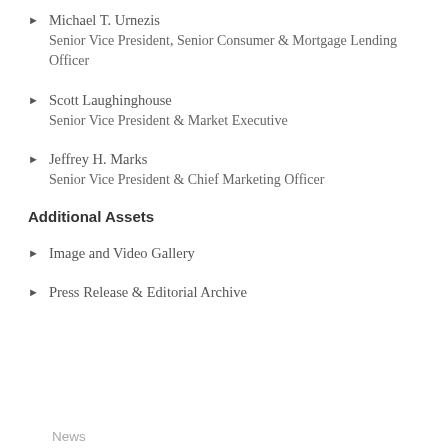Michael T. Urnezis
Senior Vice President, Senior Consumer & Mortgage Lending Officer
Scott Laughinghouse
Senior Vice President & Market Executive
Jeffrey H. Marks
Senior Vice President & Chief Marketing Officer
Additional Assets
Image and Video Gallery
Press Release & Editorial Archive
News